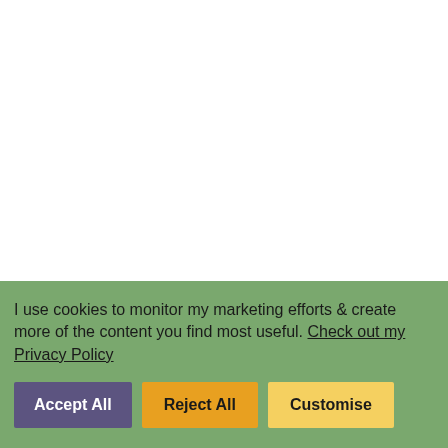Photo by photographer from Getty Images Sigature via Canva Pro
Having a great customer experience is absolutely key to competing on value rather than price. Going the extra mile for your customers will really make you stand out. For
I use cookies to monitor my marketing efforts & create more of the content you find most useful. Check out my Privacy Policy